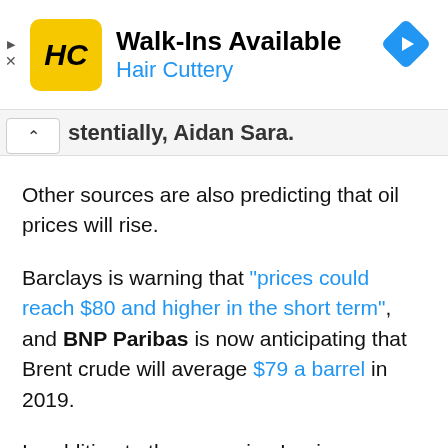[Figure (other): Advertisement banner for Hair Cuttery: yellow square logo with HC initials, text 'Walk-Ins Available' in bold and 'Hair Cuttery' in blue, blue diamond navigation icon on the right. Play and X controls on the left edge.]
stentially,   Aidan Sara.
Other sources are also predicting that oil prices will rise.
Barclays is warning that “prices could reach $80 and higher in the short term”, and BNP Paribas is now anticipating that Brent crude will average $79 a barrel in 2019.
In addition to the upcoming Iranian sanctions, rising global demand for oil is also a major factor that is pushing up prices.